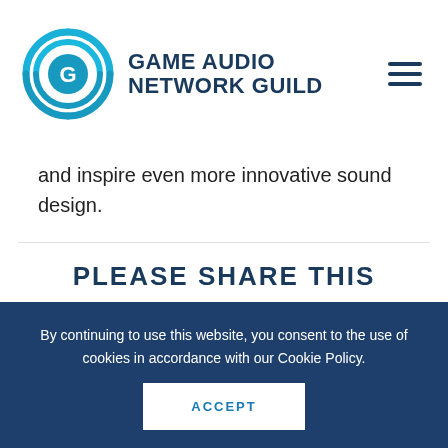[Figure (logo): Game Audio Network Guild logo with circular G icon in teal/blue and text 'GAME AUDIO NETWORK GUILD' in dark navy]
and inspire even more innovative sound design.
PLEASE SHARE THIS
[Figure (infographic): Four social media share buttons in gray circles: Twitter, Facebook, Google+, Pinterest]
By continuing to use this website, you consent to the use of cookies in accordance with our Cookie Policy.
ACCEPT